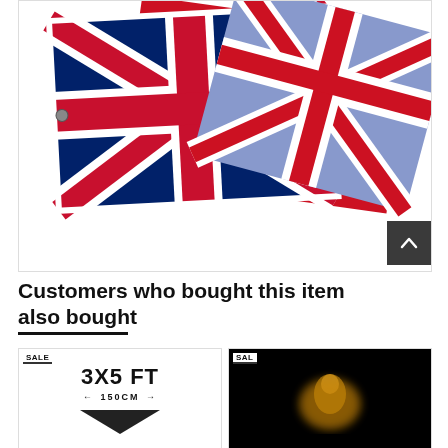[Figure (photo): Product photo showing Union Jack / Chelsea FC flags overlapping on a white background. The flags display the red, white and blue of the British Union Jack pattern, with one flag showing 'Chelsea H...' text in gothic lettering at top.]
Customers who bought this item also bought
[Figure (photo): Product card showing SALE badge, with text '3X5 FT' in large bold font and '150CM' with arrows indicating width. Bottom portion shows a small flag or pennant shape.]
[Figure (photo): Product card showing SALE badge on black background with a blurred golden/amber colored figure or design in the center.]